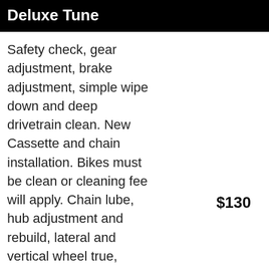Deluxe Tune
Safety check, gear adjustment, brake adjustment, simple wipe down and deep drivetrain clean. New Cassette and chain installation. Bikes must be clean or cleaning fee will apply. Chain lube, hub adjustment and rebuild, lateral and vertical wheel true, hanger straighten, headset adjustment and bottom bracket inspection and rebuild. Test ride.
$130